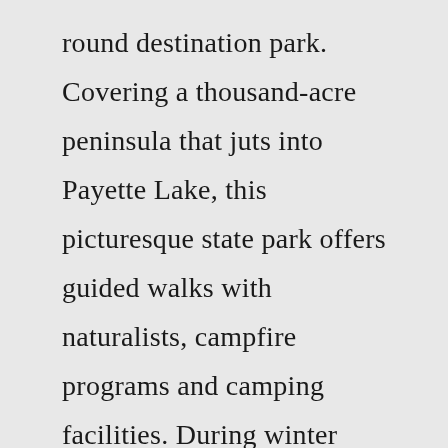round destination park. Covering a thousand-acre peninsula that juts into Payette Lake, this picturesque state park offers guided walks with naturalists, campfire programs and camping facilities. During winter months the park has groomed Nordic Ski trails and snowshoe ... Ponderosa State Park, McCall: See 292 reviews, articles, and 126 photos of Ponderosa State Park, ranked No.2 on